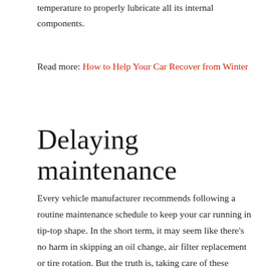temperature to properly lubricate all its internal components.
Read more: How to Help Your Car Recover from Winter
Delaying maintenance
Every vehicle manufacturer recommends following a routine maintenance schedule to keep your car running in tip-top shape. In the short term, it may seem like there's no harm in skipping an oil change, air filter replacement or tire rotation. But the truth is, taking care of these preventative maintenance tasks now can save you from needing major repairs